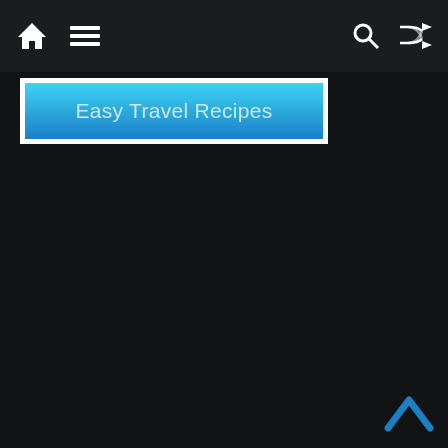Navigation bar with home, menu, search, and shuffle icons
[Figure (screenshot): Banner with gradient blue background showing text 'Easy Travel Recipes']
Easy Travel Recipes